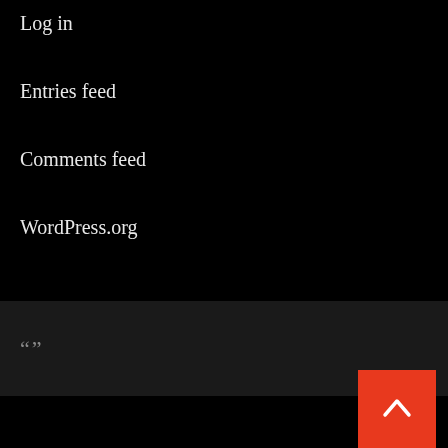Log in
Entries feed
Comments feed
WordPress.org
“”